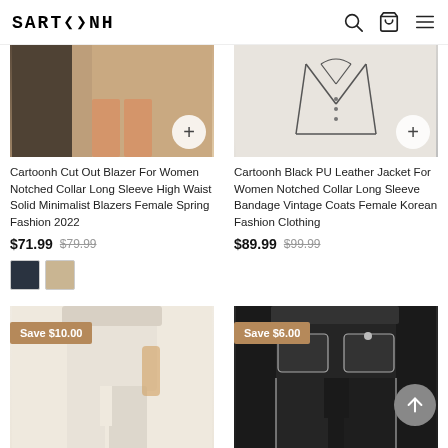CARTOONH
[Figure (photo): Cartoonh Cut Out Blazer product image showing legs and clothing, with a plus button overlay]
Cartoonh Cut Out Blazer For Women Notched Collar Long Sleeve High Waist Solid Minimalist Blazers Female Spring Fashion 2022
$71.99 $79.99
[Figure (photo): Color swatches for the blazer: dark navy and light beige]
[Figure (photo): Cartoonh Black PU Leather Jacket product image showing sketched jacket with a plus button overlay]
Cartoonh Black PU Leather Jacket For Women Notched Collar Long Sleeve Bandage Vintage Coats Female Korean Fashion Clothing
$89.99 $99.99
[Figure (photo): Bottom-left product: cream/beige wide-leg trousers on model, Save $10.00 badge]
[Figure (photo): Bottom-right product: black velvet trousers with silver pocket trim, Save $6.00 badge]